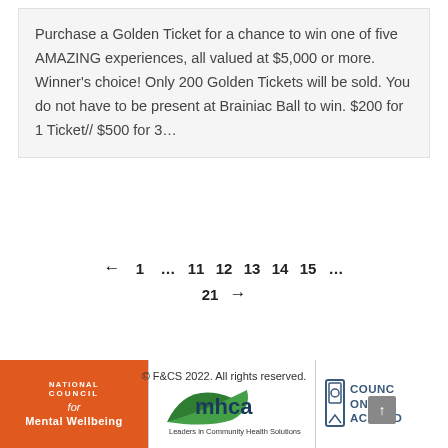Purchase a Golden Ticket for a chance to win one of five AMAZING experiences, all valued at $5,000 or more. Winner's choice! Only 200 Golden Tickets will be sold. You do not have to be present at Brainiac Ball to win. $200 for 1 Ticket// $500 for 3…
← 1 … 11 12 13 14 15 … 21 →
© F&CS 2022. All rights reserved.